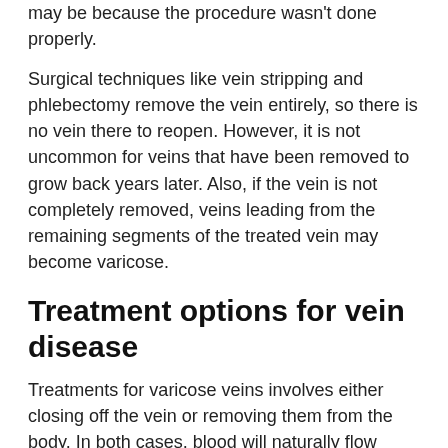may be because the procedure wasn't done properly.
Surgical techniques like vein stripping and phlebectomy remove the vein entirely, so there is no vein there to reopen. However, it is not uncommon for veins that have been removed to grow back years later. Also, if the vein is not completely removed, veins leading from the remaining segments of the treated vein may become varicose.
Treatment options for vein disease
Treatments for varicose veins involves either closing off the vein or removing them from the body. In both cases, blood will naturally flow through other healthy veins in the leg. Treatments include:
Sclerotherapy. A liquid or foam chemical is injected into the vein, which causes the walls of